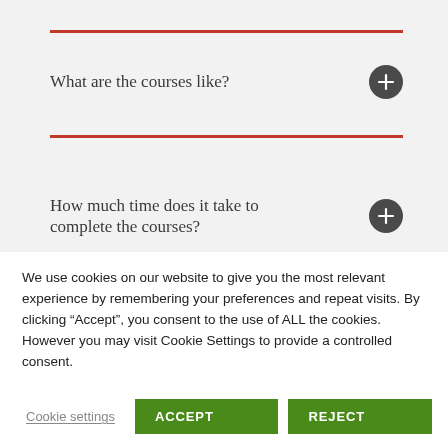What are the courses like?
How much time does it take to complete the courses?
We use cookies on our website to give you the most relevant experience by remembering your preferences and repeat visits. By clicking “Accept”, you consent to the use of ALL the cookies. However you may visit Cookie Settings to provide a controlled consent.
Cookie settings | ACCEPT | REJECT